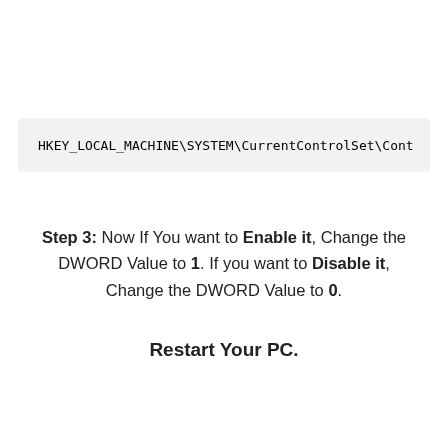HKEY_LOCAL_MACHINE\SYSTEM\CurrentControlSet\Cont
Step 3: Now If You want to Enable it, Change the DWORD Value to 1. If you want to Disable it, Change the DWORD Value to 0.
Restart Your PC.